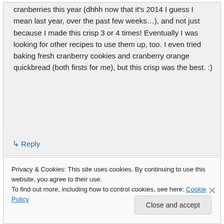cranberries this year (dhhh now that it's 2014 I guess I mean last year, over the past few weeks…), and not just because I made this crisp 3 or 4 times! Eventually I was looking for other recipes to use them up, too. I even tried baking fresh cranberry cookies and cranberry orange quickbread (both firsts for me), but this crisp was the best. :)
↳ Reply
Privacy & Cookies: This site uses cookies. By continuing to use this website, you agree to their use.
To find out more, including how to control cookies, see here: Cookie Policy
Close and accept